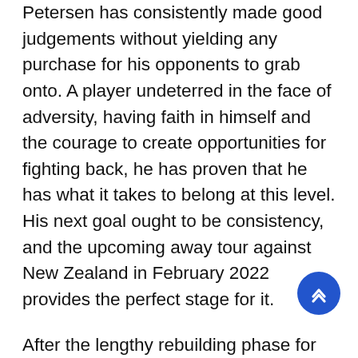Petersen has consistently made good judgements without yielding any purchase for his opponents to grab onto. A player undeterred in the face of adversity, having faith in himself and the courage to create opportunities for fighting back, he has proven that he has what it takes to belong at this level. His next goal ought to be consistency, and the upcoming away tour against New Zealand in February 2022 provides the perfect stage for it.
After the lengthy rebuilding phase for South Africa following the multiple retirements of high-profile players, the signs shown by new players like Petersen (and Marco Jansen, for another) are promising after a hard, debilitating winter filled with loss and instability. With victories in their last two series, this team is looking to dominate the world